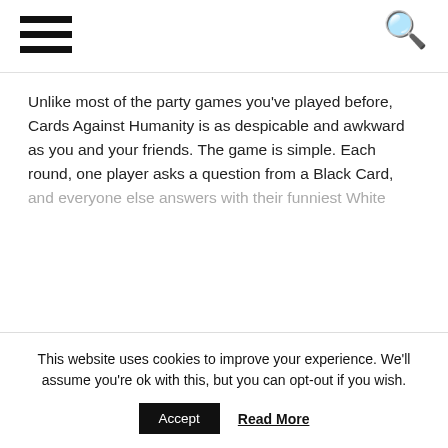[Navigation bar with hamburger menu and search icon]
Unlike most of the party games you've played before, Cards Against Humanity is as despicable and awkward as you and your friends. The game is simple. Each round, one player asks a question from a Black Card, and everyone else answers with their funniest White
$25.00
CHECK THIS OUT
[Figure (screenshot): Facebook social share icon (blue square with white F)]
This website uses cookies to improve your experience. We'll assume you're ok with this, but you can opt-out if you wish.
Accept
Read More